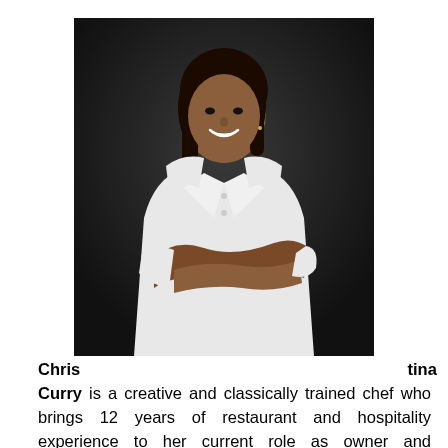[Figure (photo): Professional headshot of a woman (Christina Curry) wearing a white chef's coat, arms crossed, smiling, against a dark background.]
Christina Curry is a creative and classically trained chef who brings 12 years of restaurant and hospitality experience to her current role as owner and Executive Chef of Epicurean Endeavors Catering. Her diverse work experience